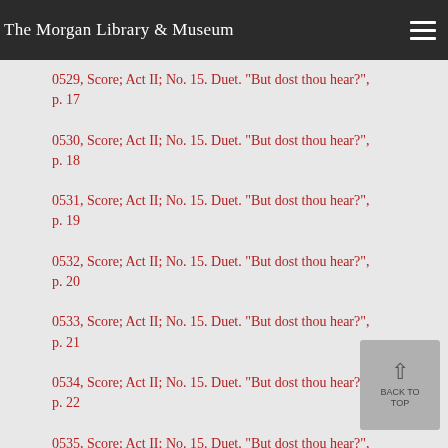The Morgan Library & Museum
0529, Score; Act II; No. 15. Duet. "But dost thou hear?", p. 17
0530, Score; Act II; No. 15. Duet. "But dost thou hear?", p. 18
0531, Score; Act II; No. 15. Duet. "But dost thou hear?", p. 19
0532, Score; Act II; No. 15. Duet. "But dost thou hear?", p. 20
0533, Score; Act II; No. 15. Duet. "But dost thou hear?", p. 21
0534, Score; Act II; No. 15. Duet. "But dost thou hear?", p. 22
0535, Score; Act II; No. 15. Duet. "But dost thou hear?", p. 23